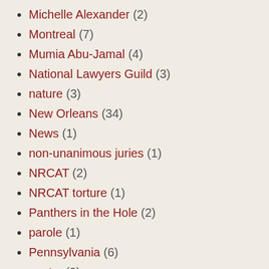Michelle Alexander (2)
Montreal (7)
Mumia Abu-Jamal (4)
National Lawyers Guild (3)
nature (3)
New Orleans (34)
News (1)
non-unanimous juries (1)
NRCAT (2)
NRCAT torture (1)
Panthers in the Hole (2)
parole (1)
Pennsylvania (6)
poetry (2)
political prisoners (62)
prison (7)
prison health care (138)
prisoners of war (2)
prisons (195)
public safety (2)